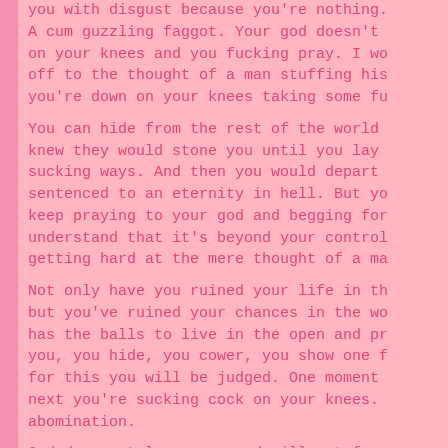you with disgust because you're nothing. A cum guzzling faggot. Your god doesn't on your knees and you fucking pray. I wo off to the thought of a man stuffing his you're down on your knees taking some fu
You can hide from the rest of the world knew they would stone you until you lay sucking ways. And then you would depart sentenced to an eternity in hell. But yo keep praying to your god and begging for understand that it's beyond your control getting hard at the mere thought of a ma
Not only have you ruined your life in th but you've ruined your chances in the wo has the balls to live in the open and pr you, you hide, you cower, you show one f for this you will be judged. One moment next you're sucking cock on your knees. abomination.
God does not love you, god will not forg dirty closet fag like you. There is no h surrounded by cocks waiting to fuck your That would be heaven for you. But that's